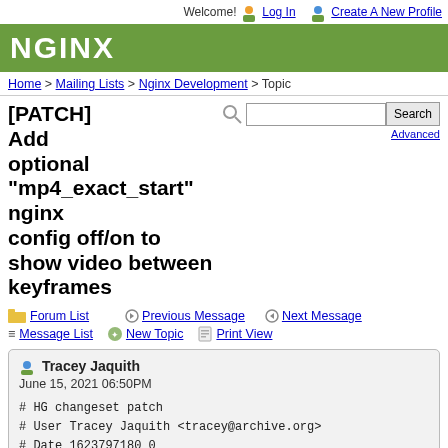Welcome! Log In Create A New Profile
[Figure (logo): NGINX logo in white text on green background]
Home > Mailing Lists > Nginx Development > Topic
[PATCH] Add optional "mp4_exact_start" nginx config off/on to show video between keyframes
Forum List   Previous Message   Next Message
Message List   New Topic   Print View
Tracey Jaquith
June 15, 2021 06:50PM
# HG changeset patch
# User Tracey Jaquith <tracey@archive.org>
# Date 1623797180 0